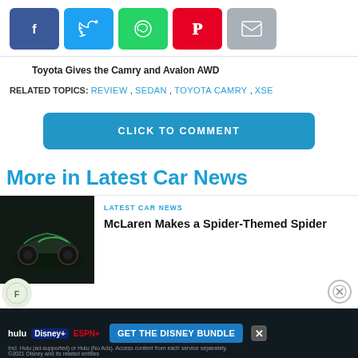[Figure (infographic): Social sharing buttons: Facebook (blue), Twitter (cyan), WhatsApp (green), Pinterest (red), Email (grey)]
Toyota Gives the Camry and Avalon AWD
RELATED TOPICS: REVIEW, SEDAN, TOYOTA CAMRY, XSE
CLICK TO COMMENT
More in Latest Car News
LATEST CAR NEWS
McLaren Makes a Spider-Themed Spider
[Figure (photo): Dark McLaren sports car on a black/dark green background]
[Figure (infographic): Advertisement: Hulu, Disney+, ESPN+ - GET THE DISNEY BUNDLE]